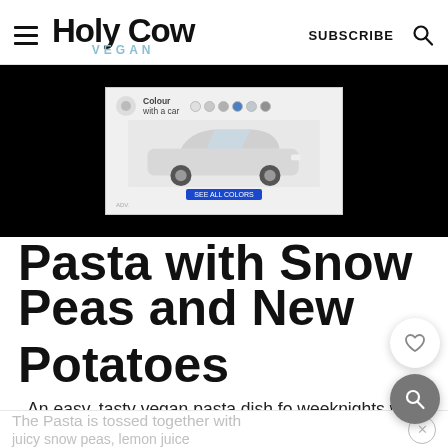Holy Cow Vegan — SUBSCRIBE (search icon)
[Figure (photo): Advertisement banner on black background showing a white SUV car with color swatches and a blue call-to-action button]
Pasta with Snow Peas and New Potatoes
An easy, tasty vegan pasta dish for weeknights with a garlicky sauce.
The Pasta is tossed together with juicy snow peas, lemon juice